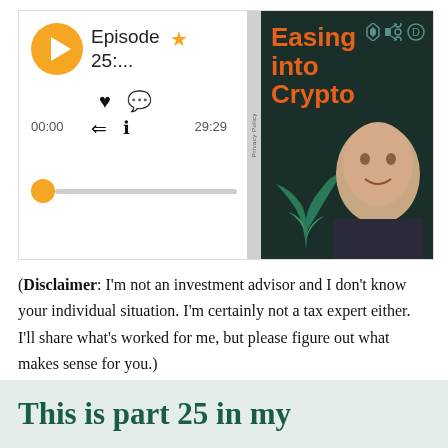[Figure (screenshot): Podcast player UI showing Episode 25 with play button, heart/comment/share/info icons, time 00:00 / 29:29, progress bar with yellow knob, alongside podcast cover art for 'Easing into Crypto' with a man's photo and plant decoration]
(Disclaimer: I'm not an investment advisor and I don't know your individual situation. I'm certainly not a tax expert either. I'll share what's worked for me, but please figure out what makes sense for you.)
This is part 25 in my